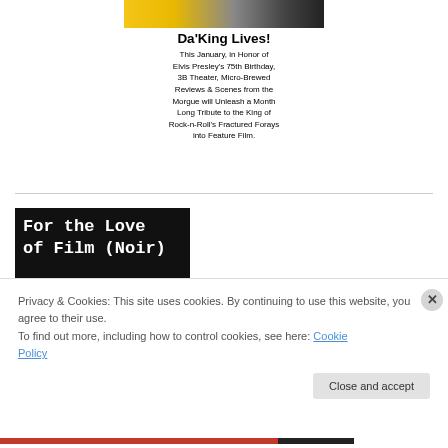[Figure (illustration): Promotional banner for 'Da'King Lives!' Elvis Presley tribute. Top portion shows a yellow and grayscale image. Below is bold title text 'Da'King Lives!' followed by descriptive text about January tribute to Elvis Presley's 75th Birthday at 3B Theater.]
Da'King Lives! This January, in Honor of Elvis Presley's 75th Birthday, 3B Theater, Micro-Brewed Reviews & Scenes from the Morgue will Unleash a Month Long Tribute to the King of Rock-n-Roll's Fractured Forays into Feature Film.
[Figure (illustration): Black background image with white typewriter-font text reading 'For the Love of Film (Noir)' and subtitle 'The Film' below.]
Privacy & Cookies: This site uses cookies. By continuing to use this website, you agree to their use.
To find out more, including how to control cookies, see here: Cookie Policy
Close and accept